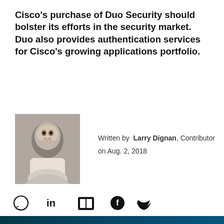Cisco's purchase of Duo Security should bolster its efforts in the security market. Duo also provides authentication services for Cisco's growing applications portfolio.
[Figure (photo): Black and white headshot photo of Larry Dignan, a middle-aged man smiling, wearing a white shirt]
Written by Larry Dignan, Contributor on Aug. 2, 2018
[Figure (infographic): Social sharing icons row: comment bubble, LinkedIn, Flipboard, Facebook, Twitter]
[Figure (screenshot): Video thumbnail showing a dark blue glowing keyboard background with white bold text reading CISCO'S 2018 and below in lighter letters CYBERSECURITY with a play button triangle in the center]